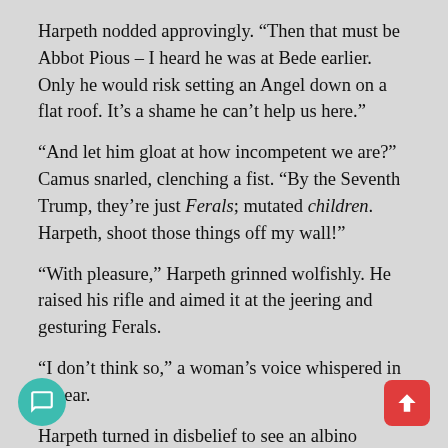Harpeth nodded approvingly. “Then that must be Abbot Pious – I heard he was at Bede earlier. Only he would risk setting an Angel down on a flat roof. It’s a shame he can’t help us here.”
“And let him gloat at how incompetent we are?” Camus snarled, clenching a fist. “By the Seventh Trump, they’re just Ferals; mutated children. Harpeth, shoot those things off my wall!”
“With pleasure,” Harpeth grinned wolfishly. He raised his rifle and aimed it at the jeering and gesturing Ferals.
“I don’t think so,” a woman’s voice whispered in his ear.
Harpeth turned in disbelief to see an albino woman standing right next to him dressed in black clothes he recognised as being drawn from